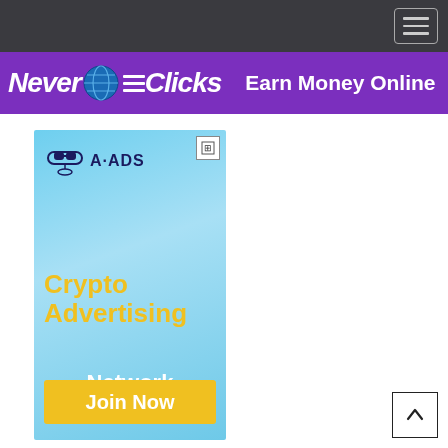Navigation bar with hamburger menu button
[Figure (infographic): Purple banner advertisement showing 'NeverClicks' logo with globe icon and text 'Earn Money Online' and 'Forex']
[Figure (infographic): A-ADS advertisement block with light blue gradient background showing logo, 'Crypto Advertising Network' text in yellow/white, and 'Join Now' yellow button]